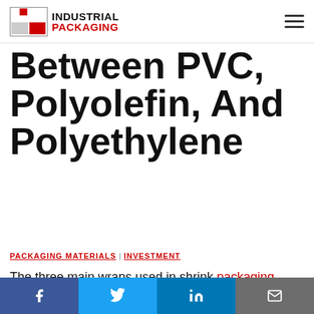Industrial Packaging
Between PVC, Polyolefin, And Polyethylene
PACKAGING MATERIALS | INVESTMENT
The three main wraps used in shrink packaging material for protecting and securing products for the retail and shipping environments are polyvinyl chloride (PVC), polyethylene (PE), and polyolefin (POF). Each has different capabilities and characteristics that make them suitable for specific